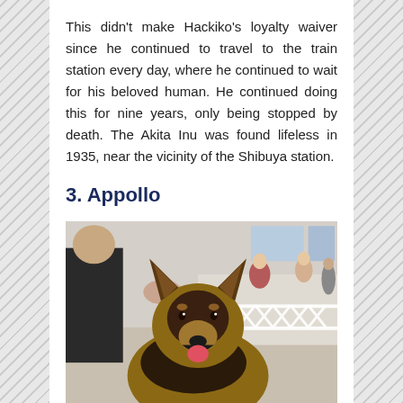This didn't make Hackiko's loyalty waiver since he continued to travel to the train station every day, where he continued to wait for his beloved human. He continued doing this for nine years, only being stopped by death. The Akita Inu was found lifeless in 1935, near the vicinity of the Shibuya station.
3. Appollo
[Figure (photo): A German Shepherd dog with mouth open and tongue out, being petted by a person in dark clothing. In the background there is an indoor event space with white lattice barriers and people seated at tables.]